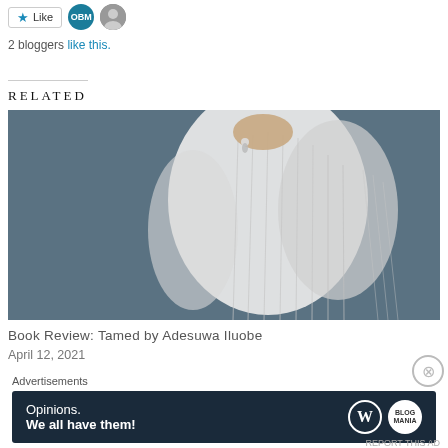[Figure (other): Like button with star icon, two avatar icons (OBM and a person photo)]
2 bloggers like this.
RELATED
[Figure (photo): A woman in a white sheer dress against a dark grey background, profile view]
Book Review: Tamed by Adesuwa Iluobe
April 12, 2021
Advertisements
[Figure (other): Advertisement banner: dark navy background with text 'Opinions. We all have them!' and WordPress and Blog logos]